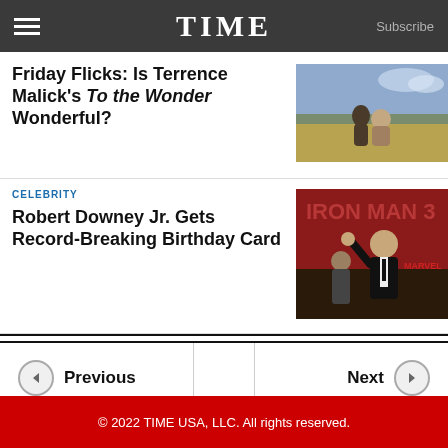TIME  Subscribe
Friday Flicks: Is Terrence Malick's To the Wonder Wonderful?
[Figure (photo): A man and woman embracing in a golden field]
CELEBRITY
Robert Downey Jr. Gets Record-Breaking Birthday Card
[Figure (photo): Robert Downey Jr. in a tuxedo at an Iron Man 3 event, raising his fist]
Previous
Next
© 2022 TIME USA, LLC. All rights reserved.